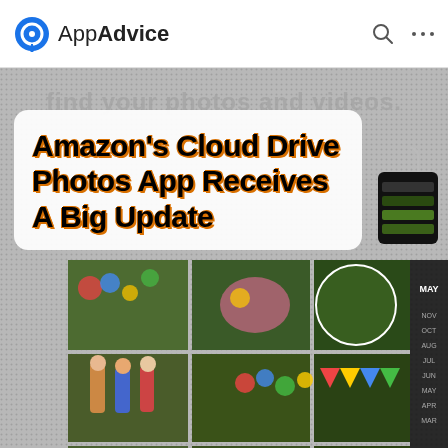AppAdvice
[Figure (screenshot): App screenshot showing photo grid from Amazon Cloud Drive Photos app, with dotted background, bracket UI element, and faint text 'find your photos and videos.']
Amazon's Cloud Drive Photos App Receives A Big Update